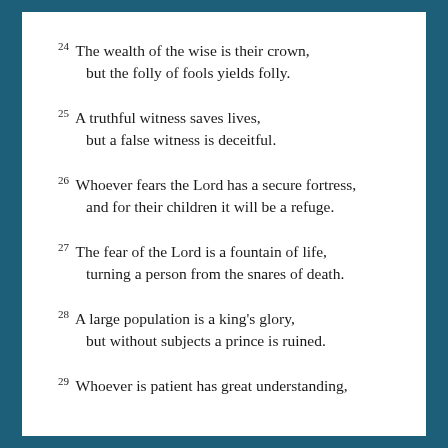24 The wealth of the wise is their crown, but the folly of fools yields folly.
25 A truthful witness saves lives, but a false witness is deceitful.
26 Whoever fears the Lord has a secure fortress, and for their children it will be a refuge.
27 The fear of the Lord is a fountain of life, turning a person from the snares of death.
28 A large population is a king's glory, but without subjects a prince is ruined.
29 Whoever is patient has great understanding,